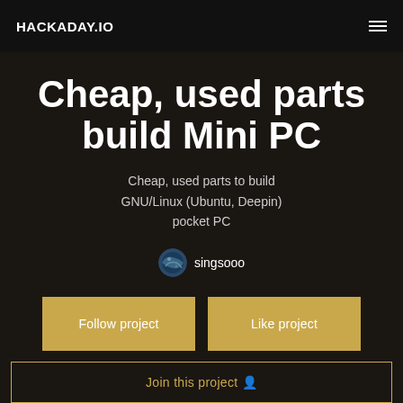HACKADAY.IO
Cheap, used parts build Mini PC
Cheap, used parts to build GNU/Linux (Ubuntu, Deepin) pocket PC
singsooo
Follow project
Like project
Join this project